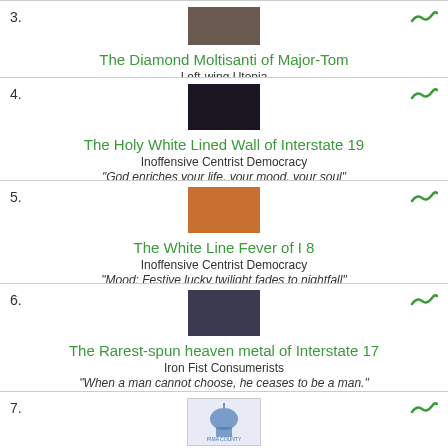3. The Diamond Moltisanti of Major-Tom
Left-wing Utopia
“I Did-Dent...”
4. The Holy White Lined Wall of Interstate 19
Inoffensive Centrist Democracy
“God enriches your life, your mood, your soul”
5. The White Line Fever of I 8
Inoffensive Centrist Democracy
“Mood: Festive lucky twilight fades to nightfall”
6. The Rarest-spun heaven metal of Interstate 17
Iron Fist Consumerists
“When a man cannot choose, he ceases to be a man.”
7. The Region of Pima County
Inoffensive Centrist Democracy